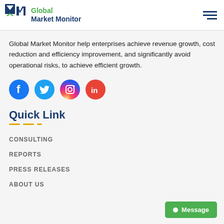Global Market Monitor
Global Market Monitor help enterprises achieve revenue growth, cost reduction and efficiency improvement, and significantly avoid operational risks, to achieve efficient growth.
[Figure (illustration): Social media icons: Facebook (blue), Twitter (light blue), Instagram (gradient purple-orange), LinkedIn (red-orange)]
Quick Link
CONSULTING
REPORTS
PRESS RELEASES
ABOUT US